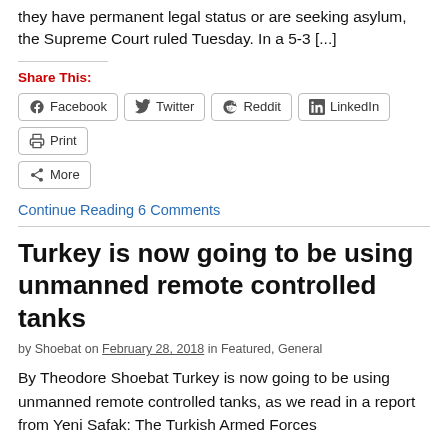they have permanent legal status or are seeking asylum, the Supreme Court ruled Tuesday. In a 5-3 [...]
Share This:
Facebook  Twitter  Reddit  LinkedIn  Print  More
Continue Reading 6 Comments
Turkey is now going to be using unmanned remote controlled tanks
by Shoebat on February 28, 2018 in Featured, General
By Theodore Shoebat Turkey is now going to be using unmanned remote controlled tanks, as we read in a report from Yeni Safak: The Turkish Armed Forces